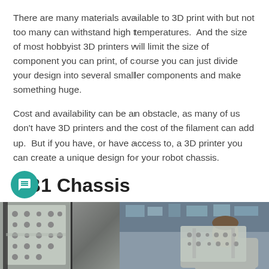There are many materials available to 3D print with but not too many can withstand high temperatures.  And the size of most hobbyist 3D printers will limit the size of component you can print, of course you can just divide your design into several smaller components and make something huge.
Cost and availability can be an obstacle, as many of us don't have 3D printers and the cost of the filament can add up.  But if you have, or have access to, a 3D printer you can create a unique design for your robot chassis.
DB1 Chassis
So now that we have examined some chassis materials what one(s) did I use to create the DB1 chassis?
12
[Figure (photo): Photo of a person holding a metal robot chassis component with perforations/holes, with workshop/equipment visible in the background]